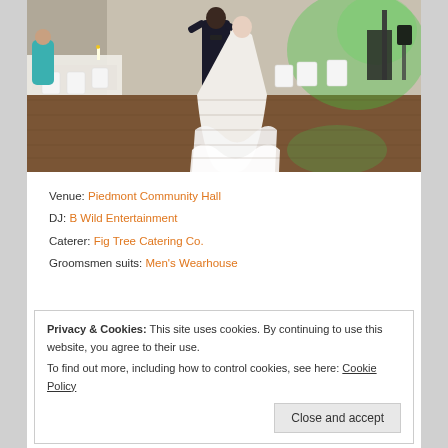[Figure (photo): Wedding reception photo showing a bride in a white ruffled gown and groom in a dark suit dancing on a wooden dance floor. White folding chairs and tables with white tablecloths are visible in the background. Green uplighting illuminates the walls. Other guests and a DJ setup are visible in the background.]
Venue: Piedmont Community Hall
DJ: B Wild Entertainment
Caterer: Fig Tree Catering Co.
Groomsmen suits: Men's Wearhouse
Privacy & Cookies: This site uses cookies. By continuing to use this website, you agree to their use.
To find out more, including how to control cookies, see here: Cookie Policy
Close and accept